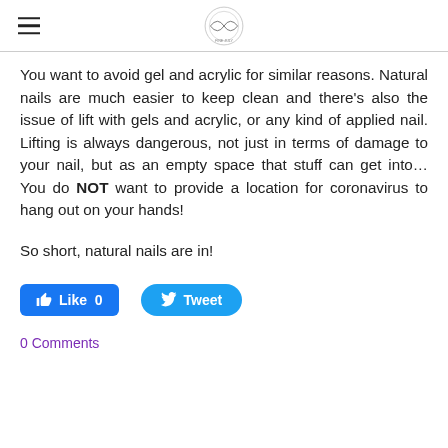[Logo / hamburger menu header]
You want to avoid gel and acrylic for similar reasons. Natural nails are much easier to keep clean and there’s also the issue of lift with gels and acrylic, or any kind of applied nail. Lifting is always dangerous, not just in terms of damage to your nail, but as an empty space that stuff can get into… You do NOT want to provide a location for coronavirus to hang out on your hands!
So short, natural nails are in!
[Figure (other): Facebook Like button (count: 0) and Twitter Tweet button]
0 Comments